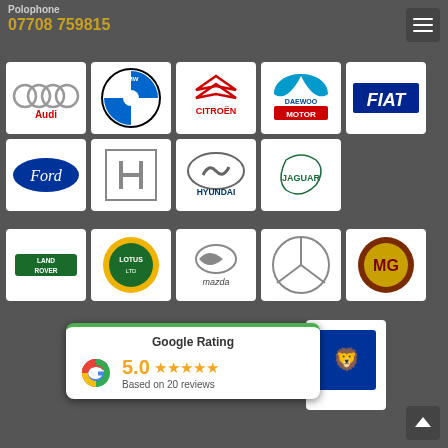Polophone
07708 759815
[Figure (logo): Grid of car brand logos: Audi, BMW, Citroën, Daewoo Motor, Fiat, Ford, Honda, Hyundai, Jaguar, Land Rover, Lotus, Mazda, Mercedes-Benz, MG, Peugeot]
Google Rating
5.0
Based on 20 reviews